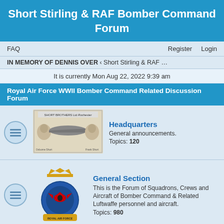Short Stirling & RAF Bomber Command Forum
FAQ | Register | Login
IN MEMORY OF DENNIS OVER ‹ Short Stirling & RAF ...
It is currently Mon Aug 22, 2022 9:39 am
Royal Air Force WWII Bomber Command Related Discussion Forum
Headquarters
General announcements.
Topics: 120
General Section
This is the Forum of Squadrons, Crews and Aircraft of Bomber Command & Related Luftwaffe personnel and aircraft.
Topics: 980
The Stirling Aircraft Project
This is the section where you can find all the latest news of the rebuilt of the Short Stirling.
Topics: 2
In Memoriam